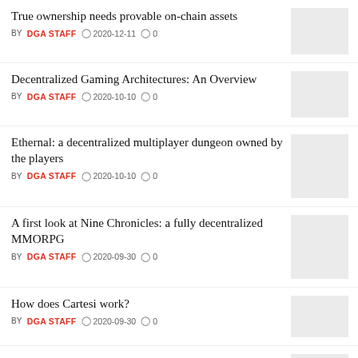True ownership needs provable on-chain assets
BY DGA STAFF  2020-12-11  0
Decentralized Gaming Architectures: An Overview
BY DGA STAFF  2020-10-10  0
Ethernal: a decentralized multiplayer dungeon owned by the players
BY DGA STAFF  2020-10-10  0
A first look at Nine Chronicles: a fully decentralized MMORPG
BY DGA STAFF  2020-09-30  0
How does Cartesi work?
BY DGA STAFF  2020-09-30  0
What is a decentralized game?